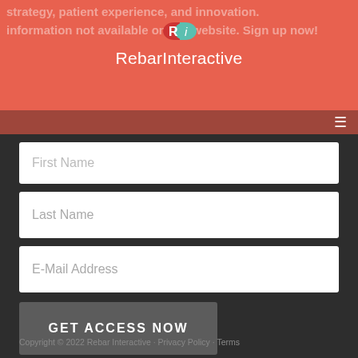[Figure (logo): RebarInteractive logo with red and teal capsule/pill icon above the brand name]
strategy, patient experience, and innovation. information not available on our website. Sign up now!
RebarInteractive
First Name
Last Name
E-Mail Address
GET ACCESS NOW
Copyright © 2022 Rebar Interactive · Privacy Policy · Terms